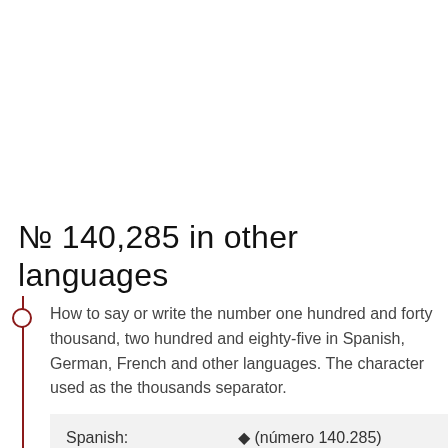№ 140,285 in other languages
How to say or write the number one hundred and forty thousand, two hundred and eighty-five in Spanish, German, French and other languages. The character used as the thousands separator.
| Spanish: |  |
| --- | --- |
| Spanish: | ♠ (número 140.285) |
ciento cuarenta mil doscientos ochenta y cinco